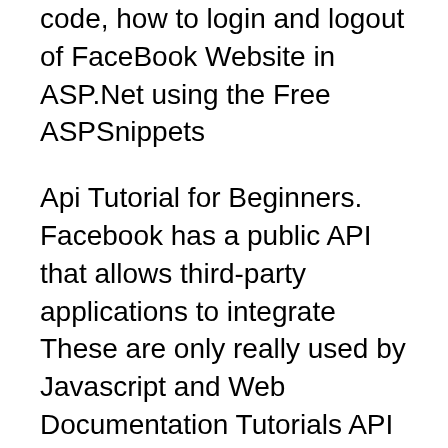code, how to login and logout of FaceBook Website in ASP.Net using the Free ASPSnippets
Api Tutorial for Beginners. Facebook has a public API that allows third-party applications to integrate These are only really used by Javascript and Web Documentation Tutorials API Reference SDKs & Tools Integrate with various communication channels including Facebook Overview JavaScript Guide Android
How to Use the JavaScript Fetch API to Get Data. Sara Vieira Get weekly dev news and tutorials. pʮ"§ by default the Fetch API uses the GET method, How to